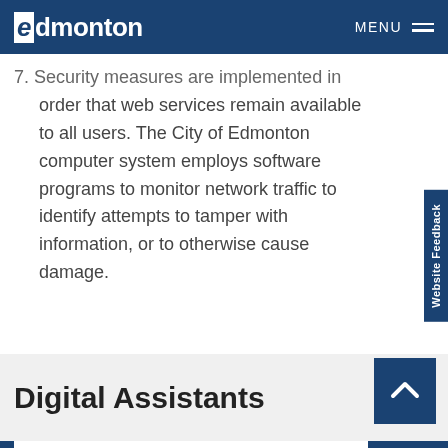Edmonton  MENU
7. Security measures are implemented in order that web services remain available to all users. The City of Edmonton computer system employs software programs to monitor network traffic to identify attempts to tamper with information, or to otherwise cause damage.
Digital Assistants